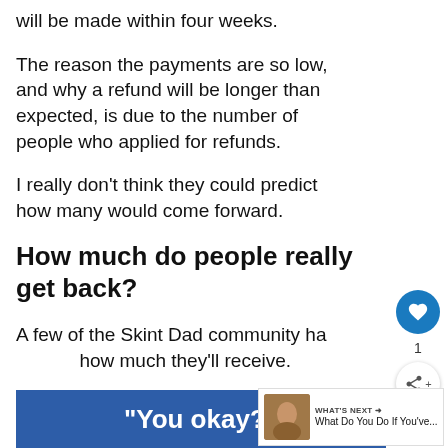will be made within four weeks.
The reason the payments are so low, and why a refund will be longer than expected, is due to the number of people who applied for refunds.
I really don't think they could predict how many would come forward.
How much do people really get back?
A few of the Skint Dad community ha how much they'll receive.
[Figure (other): Blue advertisement banner with white bold text reading "You okay?"]